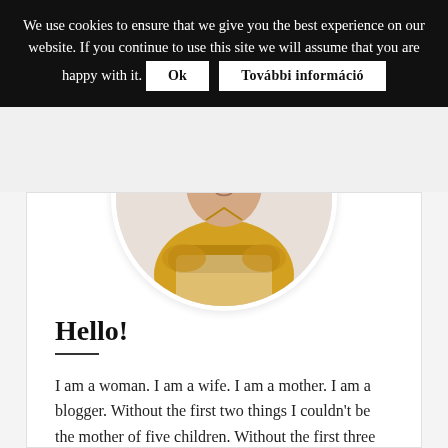We use cookies to ensure that we give you the best experience on our website. If you continue to use this site we will assume that you are happy with it. Ok  További információ
[Figure (photo): A woman wearing a yellow blouse seated with arms crossed, shown in a circular profile portrait photo.]
Hello!
I am a woman. I am a wife. I am a mother. I am a blogger. Without the first two things I couldn't be the mother of five children. Without the first three ones you wouldn't read these lines here. Their order is important. It defines my place, and it expresses everything that I am. Mom With Five blog was born to be a place where you can be